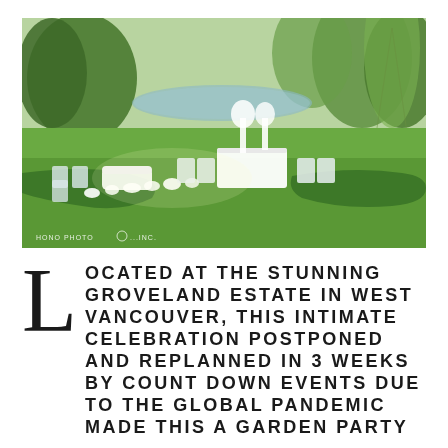[Figure (photo): Outdoor garden wedding setup at Groveland Estate. Elegant white chairs, floral arrangements, white tables set on lush green lawn with hedges, pond and weeping willow trees in background. Bright sunny day. Watermark reads: HONO PHOTO [logo] ...INC.]
Located at the stunning Groveland Estate in West Vancouver, this intimate celebration postponed and replanned in 3 weeks by Count Down Events due to the global pandemic made this a garden party